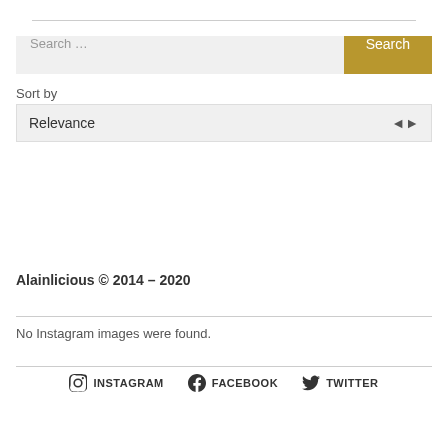Search …
Sort by
Relevance
Alainlicious © 2014 – 2020
No Instagram images were found.
INSTAGRAM   FACEBOOK   TWITTER